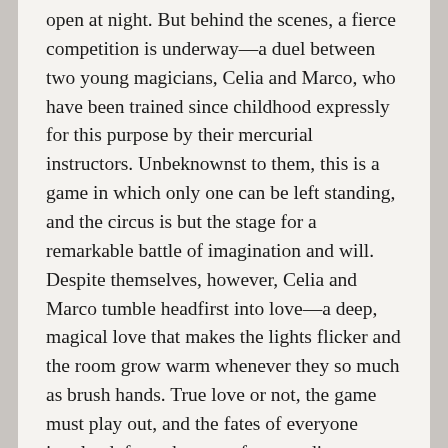open at night. But behind the scenes, a fierce competition is underway—a duel between two young magicians, Celia and Marco, who have been trained since childhood expressly for this purpose by their mercurial instructors. Unbeknownst to them, this is a game in which only one can be left standing, and the circus is but the stage for a remarkable battle of imagination and will. Despite themselves, however, Celia and Marco tumble headfirst into love—a deep, magical love that makes the lights flicker and the room grow warm whenever they so much as brush hands. True love or not, the game must play out, and the fates of everyone involved, from the cast of extraordinary circus performers to the patrons, hang in the balance, suspended as